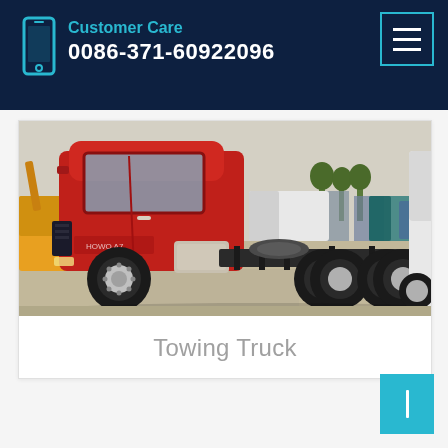Customer Care
0086-371-60922096
[Figure (photo): Photo of a red towing/semi truck (tractor unit) in a truck yard with other vehicles in the background. The red cab is prominently shown on the left, with the rear chassis and wheels visible.]
Towing Truck